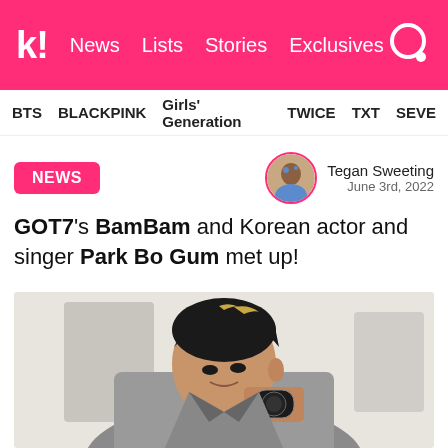k! News Lists Stories Exclusives
BTS BLACKPINK Girls' Generation TWICE TXT SEVE
NEWS
Tegan Sweeting June 3rd, 2022
GOT7's BamBam and Korean actor and singer Park Bo Gum met up!
[Figure (photo): Photo of BamBam from GOT7, a young man with dark hair with blonde highlights, wearing a gray suit jacket, posing with hand near face showing a luxury watch]